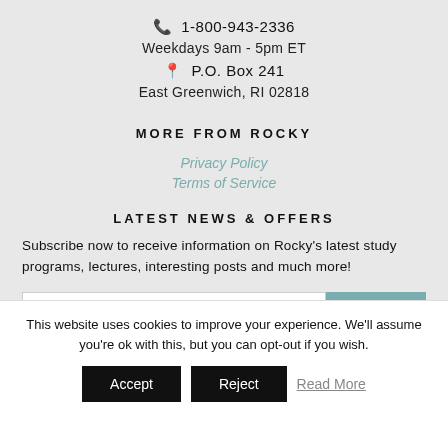📞 1-800-943-2336
Weekdays 9am - 5pm ET
📍 P.O. Box 241
East Greenwich, RI 02818
MORE FROM ROCKY
Privacy Policy
Terms of Service
LATEST NEWS & OFFERS
Subscribe now to receive information on Rocky's latest study programs, lectures, interesting posts and much more!
This website uses cookies to improve your experience. We'll assume you're ok with this, but you can opt-out if you wish.